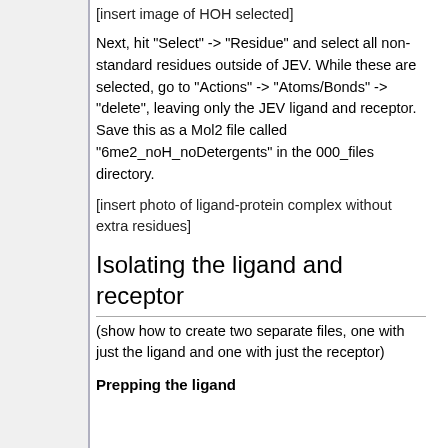[insert image of HOH selected]
Next, hit "Select" -> "Residue" and select all non-standard residues outside of JEV. While these are selected, go to "Actions" -> "Atoms/Bonds" -> "delete", leaving only the JEV ligand and receptor. Save this as a Mol2 file called "6me2_noH_noDetergents" in the 000_files directory.
[insert photo of ligand-protein complex without extra residues]
Isolating the ligand and receptor
(show how to create two separate files, one with just the ligand and one with just the receptor)
Prepping the ligand